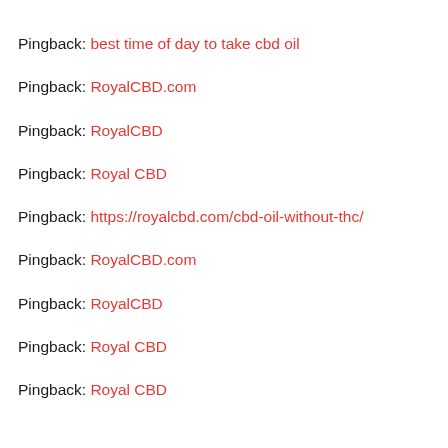Pingback: best time of day to take cbd oil
Pingback: RoyalCBD.com
Pingback: RoyalCBD
Pingback: Royal CBD
Pingback: https://royalcbd.com/cbd-oil-without-thc/
Pingback: RoyalCBD.com
Pingback: RoyalCBD
Pingback: Royal CBD
Pingback: Royal CBD